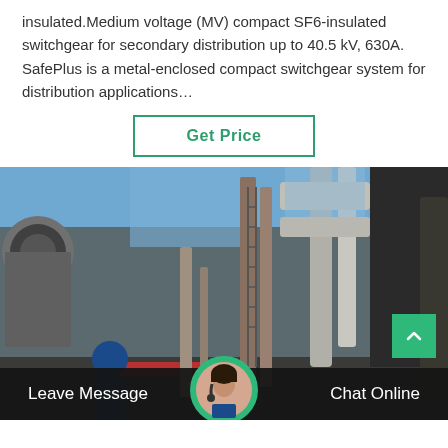insulated.Medium voltage (MV) compact SF6-insulated switchgear for secondary distribution up to 40.5 kV, 630A. SafePlus is a metal-enclosed compact switchgear system for distribution applications…
Get Price
[Figure (photo): Industrial facility with large pipes, equipment towers, and workers in hard hats and safety gear walking through the plant area under a blue sky.]
Leave Message
Chat Online